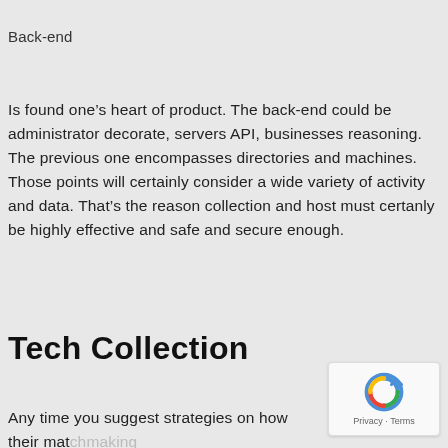Back-end
Is found one’s heart of product. The back-end could be administrator decorate, servers API, businesses reasoning. The previous one encompasses directories and machines. Those points will certainly consider a wide variety of activity and data. That’s the reason collection and host must certanly be highly effective and safe and secure enough.
Tech Collection
Any time you suggest strategies on how their matchmaking